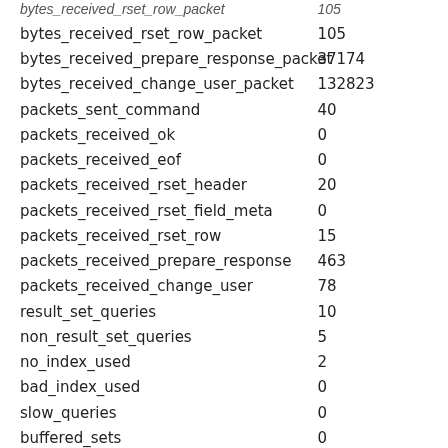| name | value |
| --- | --- |
| bytes_received_rset_row_packet | 105 |
| bytes_received_prepare_response_packet | 37174 |
| bytes_received_change_user_packet | 132823 |
| packets_sent_command | 40 |
| packets_received_ok | 0 |
| packets_received_eof | 0 |
| packets_received_rset_header | 20 |
| packets_received_rset_field_meta | 0 |
| packets_received_rset_row | 15 |
| packets_received_prepare_response | 463 |
| packets_received_change_user | 78 |
| result_set_queries | 10 |
| non_result_set_queries | 5 |
| no_index_used | 2 |
| bad_index_used | 0 |
| slow_queries | 0 |
| buffered_sets | 0 |
| unbuffered_sets | 0 |
| ps_buffered_sets | 10 |
| ps_unbuffered_sets | 0 |